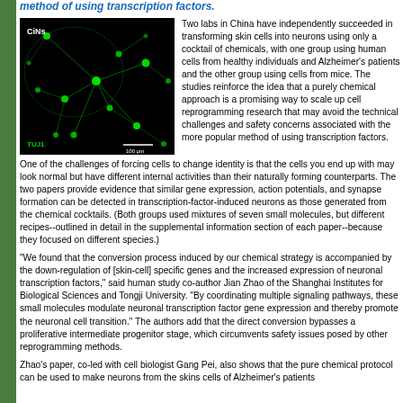method of using transcription factors.
[Figure (photo): Fluorescence microscopy image of chemically induced neurons (CiNs) labeled with TUJ1 marker, showing bright green neuron cells with extended axons and dendrites on a dark background. Scale bar shows 100 μm.]
Two labs in China have independently succeeded in transforming skin cells into neurons using only a cocktail of chemicals, with one group using human cells from healthy individuals and Alzheimer's patients and the other group using cells from mice. The studies reinforce the idea that a purely chemical approach is a promising way to scale up cell reprogramming research that may avoid the technical challenges and safety concerns associated with the more popular method of using transcription factors.
One of the challenges of forcing cells to change identity is that the cells you end up with may look normal but have different internal activities than their naturally forming counterparts. The two papers provide evidence that similar gene expression, action potentials, and synapse formation can be detected in transcription-factor-induced neurons as those generated from the chemical cocktails. (Both groups used mixtures of seven small molecules, but different recipes--outlined in detail in the supplemental information section of each paper--because they focused on different species.)
"We found that the conversion process induced by our chemical strategy is accompanied by the down-regulation of [skin-cell] specific genes and the increased expression of neuronal transcription factors," said human study co-author Jian Zhao of the Shanghai Institutes for Biological Sciences and Tongji University. "By coordinating multiple signaling pathways, these small molecules modulate neuronal transcription factor gene expression and thereby promote the neuronal cell transition." The authors add that the direct conversion bypasses a proliferative intermediate progenitor stage, which circumvents safety issues posed by other reprogramming methods.
Zhao's paper, co-led with cell biologist Gang Pei, also shows that the pure chemical protocol can be used to make neurons from the skins cells of Alzheimer's patients